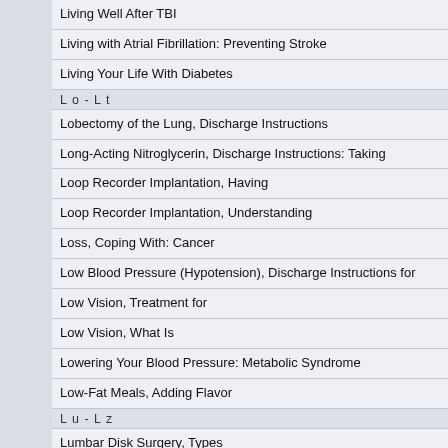Living Well After TBI
Living with Atrial Fibrillation: Preventing Stroke
Living Your Life With Diabetes
L o - L t
Lobectomy of the Lung, Discharge Instructions
Long-Acting Nitroglycerin, Discharge Instructions: Taking
Loop Recorder Implantation, Having
Loop Recorder Implantation, Understanding
Loss, Coping With: Cancer
Low Blood Pressure (Hypotension), Discharge Instructions for
Low Vision, Treatment for
Low Vision, What Is
Lowering Your Blood Pressure: Metabolic Syndrome
Low-Fat Meals, Adding Flavor
L u - L z
Lumbar Disk Surgery, Types
Lumbar Drain Placement
Lumbar Extension (Flexibility)